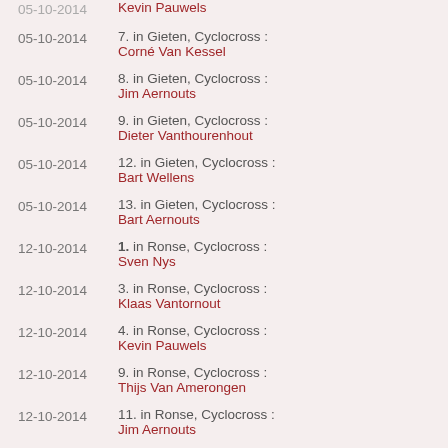05-10-2014 | 7. in Gieten, Cyclocross : Corné Van Kessel
05-10-2014 | 8. in Gieten, Cyclocross : Jim Aernouts
05-10-2014 | 9. in Gieten, Cyclocross : Dieter Vanthourenhout
05-10-2014 | 12. in Gieten, Cyclocross : Bart Wellens
05-10-2014 | 13. in Gieten, Cyclocross : Bart Aernouts
12-10-2014 | 1. in Ronse, Cyclocross : Sven Nys
12-10-2014 | 3. in Ronse, Cyclocross : Klaas Vantornout
12-10-2014 | 4. in Ronse, Cyclocross : Kevin Pauwels
12-10-2014 | 9. in Ronse, Cyclocross : Thijs Van Amerongen
12-10-2014 | 11. in Ronse, Cyclocross : Jim Aernouts
12-10-2014 | 13. in Ronse, Cyclocross :